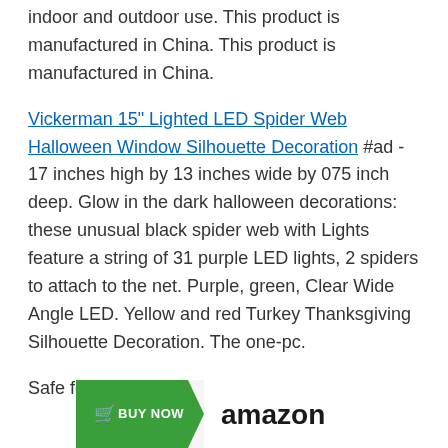indoor and outdoor use. This product is manufactured in China. This product is manufactured in China.
Vickerman 15" Lighted LED Spider Web Halloween Window Silhouette Decoration #ad - 17 inches high by 13 inches wide by 075 inch deep. Glow in the dark halloween decorations: these unusual black spider web with Lights feature a string of 31 purple LED lights, 2 spiders to attach to the net. Purple, green, Clear Wide Angle LED. Yellow and red Turkey Thanksgiving Silhouette Decoration. The one-pc.
Safe for both indoor and outdoor use.
[Figure (other): Amazon BUY NOW button with green arrow shape on left and Amazon logo on right]